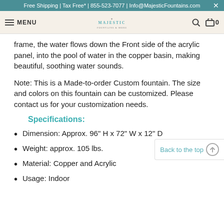Free Shipping | Tax Free* | 855-523-7077 | Info@MajesticFountains.com
MENU | Majestic Fountains logo | search | cart 0
frame, the water flows down the Front side of the acrylic panel, into the pool of water in the copper basin, making beautiful, soothing water sounds.
Note: This is a Made-to-order Custom fountain. The size and colors on this fountain can be customized. Please contact us for your customization needs.
Specifications:
Dimension: Approx. 96" H x 72" W x 12" D
Weight: approx. 105 lbs.
Material: Copper and Acrylic
Usage: Indoor